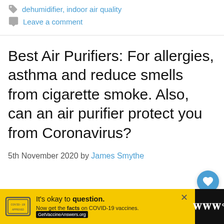dehumidifier, indoor air quality
Leave a comment
Best Air Purifiers: For allergies, asthma and reduce smells from cigarette smoke. Also, can an air purifier protect you from Coronavirus?
5th November 2020 by James Smythe
[Figure (screenshot): Advertisement banner: yellow background with stamp image. Text: It's okay to question. Now get the facts on COVID-19 vaccines. GetVaccineAnswers.org]
[Figure (other): Blue circular button with heart icon (like/love button) and circular share button]